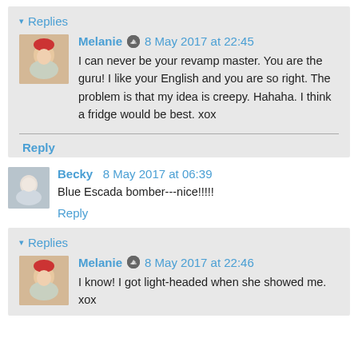▾ Replies
Melanie 🖊 8 May 2017 at 22:45
I can never be your revamp master. You are the guru! I like your English and you are so right. The problem is that my idea is creepy. Hahaha. I think a fridge would be best. xox
Reply
Becky  8 May 2017 at 06:39
Blue Escada bomber---nice!!!!!
Reply
▾ Replies
Melanie 🖊 8 May 2017 at 22:46
I know! I got light-headed when she showed me. xox